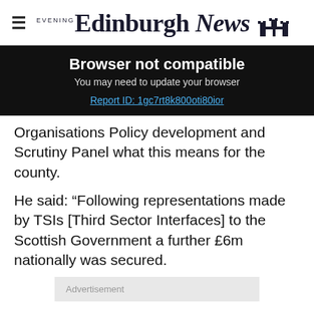Edinburgh Evening News
Browser not compatible
You may need to update your browser
Report ID: 1gc7rt8k800oti80ior
Organisations Policy development and Scrutiny Panel what this means for the county.
He said: “Following representations made by TSIs [Third Sector Interfaces] to the Scottish Government a further £6m nationally was secured.
Advertisement